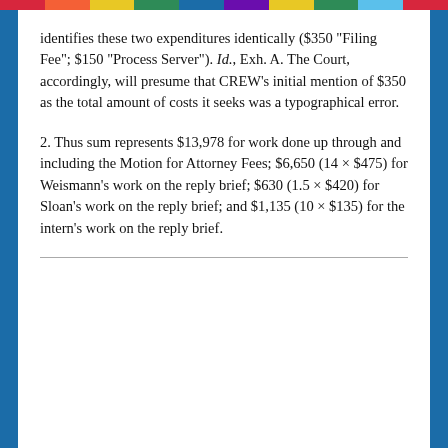identifies these two expenditures identically ($350 "Filing Fee"; $150 "Process Server"). Id., Exh. A. The Court, accordingly, will presume that CREW's initial mention of $350 as the total amount of costs it seeks was a typographical error.
2. Thus sum represents $13,978 for work done up through and including the Motion for Attorney Fees; $6,650 (14 × $475) for Weismann's work on the reply brief; $630 (1.5 × $420) for Sloan's work on the reply brief; and $1,135 (10 × $135) for the intern's work on the reply brief.